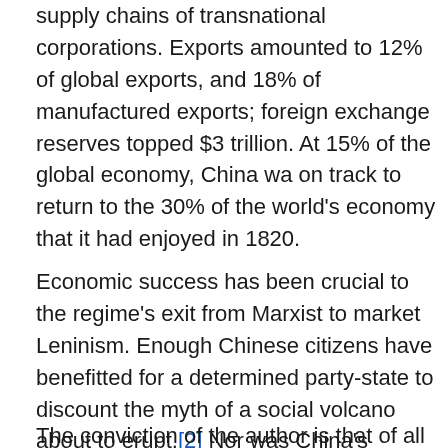supply chains of transnational corporations. Exports amounted to 12% of global exports, and 18% of manufactured exports; foreign exchange reserves topped $3 trillion. At 15% of the global economy, China wa on track to return to the 30% of the world's economy that it had enjoyed in 1820.
Economic success has been crucial to the regime's exit from Marxist to market Leninism. Enough Chinese citizens have benefitted for a determined party-state to discount the myth of a social volcano about to erupt.[2] Nor was China's performance a miracle: it was due to policy and to the Chinese people with their aspirations, ambitions, and above all their hard work. Wealth is made by work, intelligently applied.
The conviction of the author is that of all the boldest